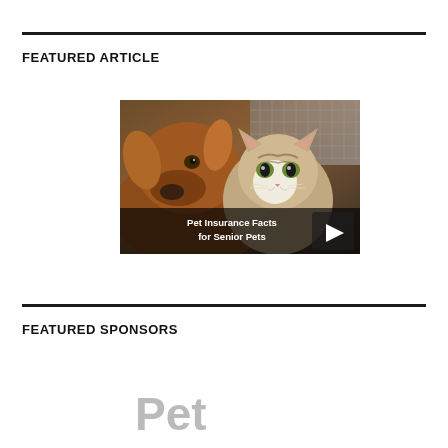FEATURED ARTICLE
[Figure (photo): A golden/red dog and a tabby cat side by side, with a video thumbnail overlay reading 'Pet Insurance Facts for Senior Pets' and a play button triangle on the right.]
FEATURED SPONSORS
[Figure (logo): Pet insurance company logo partially visible, beginning with 'Pet' in grey stylized text.]